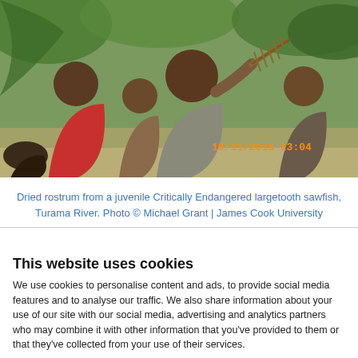[Figure (photo): Photograph of a group of people including adults and children outdoors in a village setting. A woman in the center is holding up a dried rostrum from a juvenile largetooth sawfish. Timestamp overlay reads '16/11/2018 13:04'. Photo taken at Turama River by Michael Grant, James Cook University.]
Dried rostrum from a juvenile Critically Endangered largetooth sawfish, Turama River. Photo © Michael Grant | James Cook University
This website uses cookies
We use cookies to personalise content and ads, to provide social media features and to analyse our traffic. We also share information about your use of our site with our social media, advertising and analytics partners who may combine it with other information that you've provided to them or that they've collected from your use of their services.